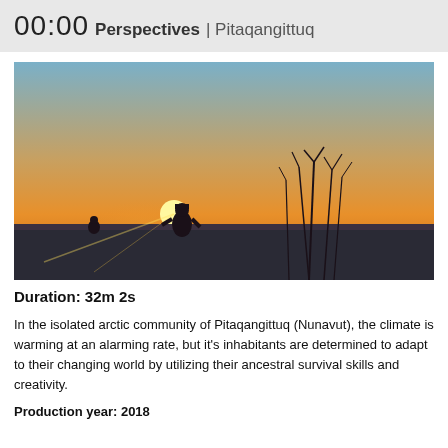00:00 Perspectives | Pitaqangittuq
[Figure (photo): A silhouetted figure standing on a snowy arctic plain at sunset/sunrise, with tall dry grasses in the foreground and a bright sun on the horizon casting warm orange light across the landscape.]
Duration: 32m 2s
In the isolated arctic community of Pitaqangittuq (Nunavut), the climate is warming at an alarming rate, but it's inhabitants are determined to adapt to their changing world by utilizing their ancestral survival skills and creativity.
Production year: 2018